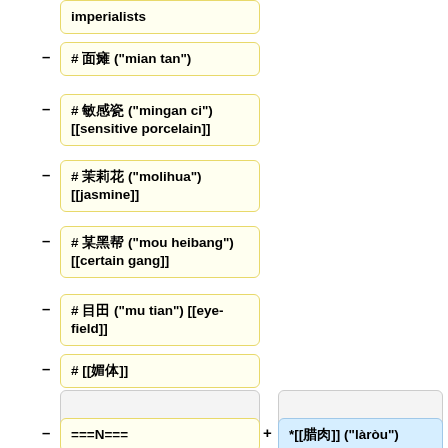imperialists
# 面瘫 ("mian tan")
# 敏感瓷 ("mingan ci") [[sensitive porcelain]]
# 茉莉花 ("molihua") [[jasmine]]
# 某黑帮 ("mou heibang") [[certain gang]]
# 目田 ("mu tian") [[eye-field]]
# [[媚体]]
===N===
*[[腊肉]] ("làròu") [[cured meat]]